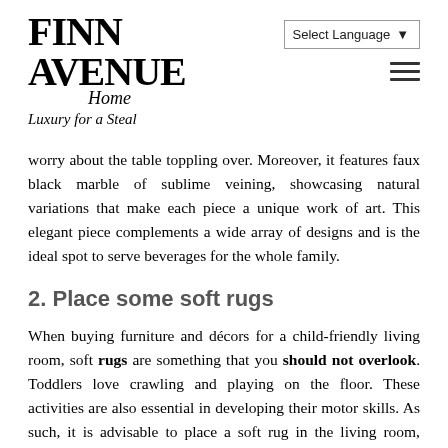FINN AVENUE Home Luxury for a Steal | Select Language | Menu
worry about the table toppling over. Moreover, it features faux black marble of sublime veining, showcasing natural variations that make each piece a unique work of art. This elegant piece complements a wide array of designs and is the ideal spot to serve beverages for the whole family.
2. Place some soft rugs
When buying furniture and décors for a child-friendly living room, soft rugs are something that you should not overlook. Toddlers love crawling and playing on the floor. These activities are also essential in developing their motor skills. As such, it is advisable to place a soft rug in the living room, where your kids can sit and play on. The soft rug can serve as a cushion, providing comfort to your